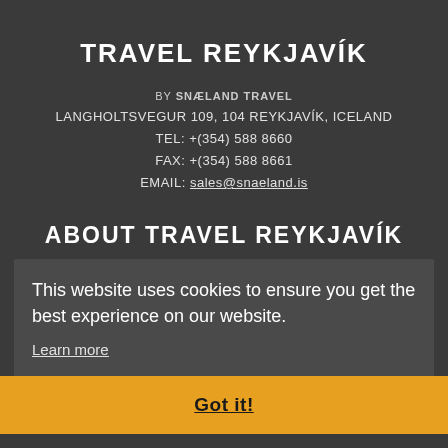TRAVEL REYKJAVÍK
BY SNÆLAND TRAVEL
LANGHOLTSVEGUR 109, 104 REYKJAVÍK, ICELAND
TEL: +(354) 588 8660
FAX: +(354) 588 8661
EMAIL: sales@snaeland.is
ABOUT TRAVEL REYKJAVÍK
This website uses cookies to ensure you get the best experience on our website.
Learn more
Got it!
THE GOLDEN CIRCLE ON THE ROCKS
PRIVATE SOUTH SHORE ADVENTURE